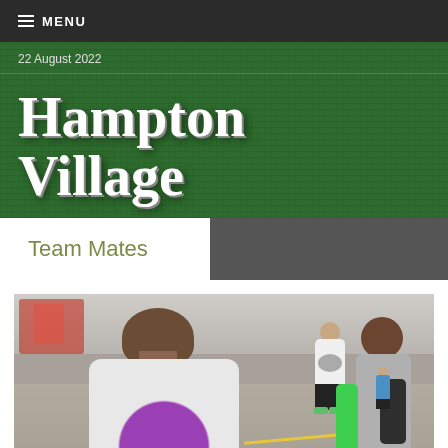MENU
22 August 2022
Hampton Village
Team Mates
[Figure (photo): Children and a person viewed from behind on an outdoor playground/court. The foreground shows a person in a white t-shirt with a purple circle design, back to camera. In the background, a child in a white vest with a grey circle stands on a grey court with yellow markings. To the right, a child with dark hair carries a green and black backpack. Background has red playground structures.]